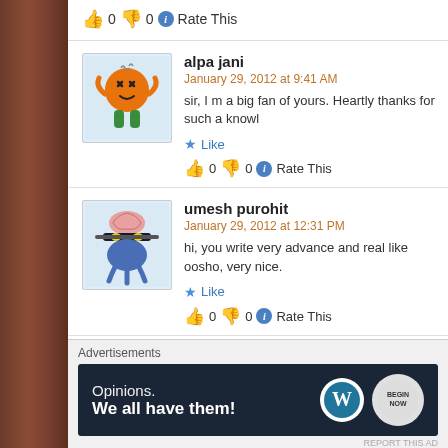👍 0 👎 0 ℹ Rate This
alpa jani
January 29, 2012 at 9:41 AM
sir, I m a big fan of yours. Heartly thanks for such a knowl…
★ Like
👍 0 👎 0 ℹ Rate This
umesh purohit
January 29, 2012 at 12:31 PM
hi, you write very advance and real like oosho, very nice.
★ Like
👍 0 👎 0 ℹ Rate This
Advertisements
[Figure (screenshot): WordPress advertisement banner: 'Opinions. We all have them!' with WordPress and Blog logos on dark navy background]